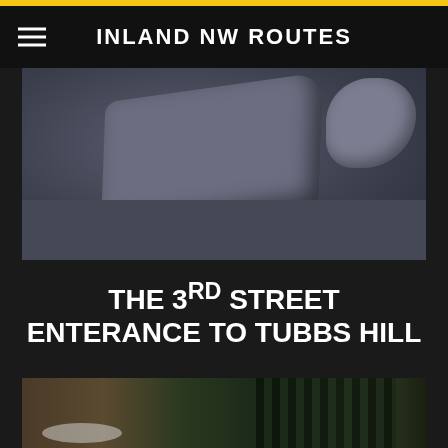INLAND NW ROUTES
[Figure (photo): Stone/rock formation at the 3rd Street entrance to Tubbs Hill, Coeur d'Alene. Large flat rocks and gravel ground cover visible.]
THE 3rd STREET ENTERANCE TO TUBBS HILL
[Figure (photo): Partially visible outdoor winter scene with snow on ground, rocks, and dark evergreen trees in background.]